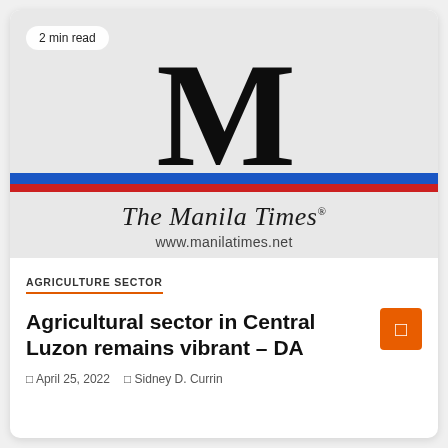[Figure (logo): The Manila Times newspaper logo — large blackletter M above two horizontal stripes (blue and red), with text 'The Manila Times' and 'www.manilatimes.net' below. A '2 min read' badge is in the top-left corner.]
AGRICULTURE SECTOR
Agricultural sector in Central Luzon remains vibrant – DA
April 25, 2022   Sidney D. Currin